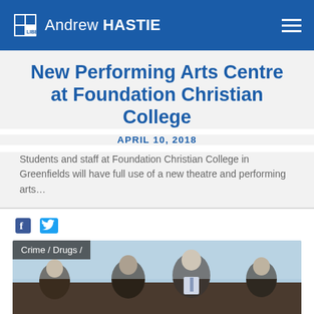Andrew HASTIE
New Performing Arts Centre at Foundation Christian College
APRIL 10, 2018
Students and staff at Foundation Christian College in Greenfields will have full use of a new theatre and performing arts…
[Figure (screenshot): Facebook and Twitter social share icons]
[Figure (photo): Photo of several men in suits standing outdoors, with a tag overlay reading 'Crime / Drugs /']